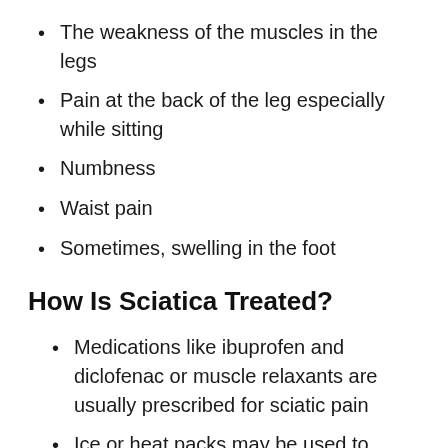The weakness of the muscles in the legs
Pain at the back of the leg especially while sitting
Numbness
Waist pain
Sometimes, swelling in the foot
How Is Sciatica Treated?
Medications like ibuprofen and diclofenac or muscle relaxants are usually prescribed for sciatic pain
Ice or heat packs may be used to relieve pain. Ice can be crushed in a damp towel and placed on the painful area for 15-20